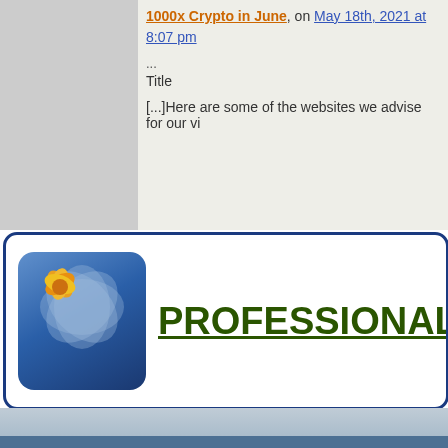1000x Crypto in June, on May 18th, 2021 at 8:07 pm
...
Title
[...]Here are some of the websites we advise for our vi
[Figure (logo): Professional Advice website logo with flower icon on blue rounded square background and green underlined text 'PROFESSIONAL ADVI...']
Upload Your Resume and Get
Daily Job Search Advice | Career Advancement Tips | Informative Articles on Life Lessons And much more...
Email Address
Upload Resume  Choose File  No file chosen